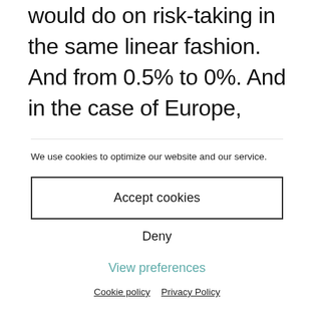would do on risk-taking in the same linear fashion. And from 0.5% to 0%. And in the case of Europe, from 0% to negative interest rates, and from slightly negative interest rates to really negative interest rates. They have a linear theory of monetarism and macroeconomics. Lower interest rates have a specific and direct
We use cookies to optimize our website and our service.
Accept cookies
Deny
View preferences
Cookie policy   Privacy Policy